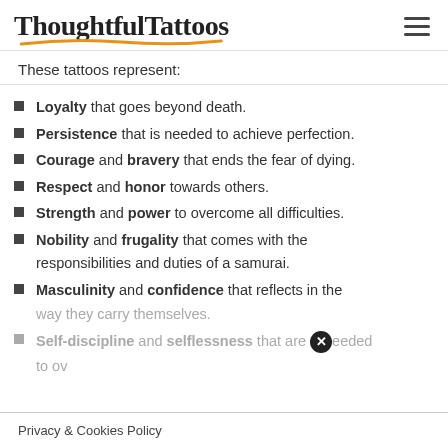ThoughtfulTattoos
These tattoos represent:
Loyalty that goes beyond death.
Persistence that is needed to achieve perfection.
Courage and bravery that ends the fear of dying.
Respect and honor towards others.
Strength and power to overcome all difficulties.
Nobility and frugality that comes with the responsibilities and duties of a samurai.
Masculinity and confidence that reflects in the way they carry themselves.
Self-discipline and selflessness that are needed to ov…
Privacy & Cookies Policy